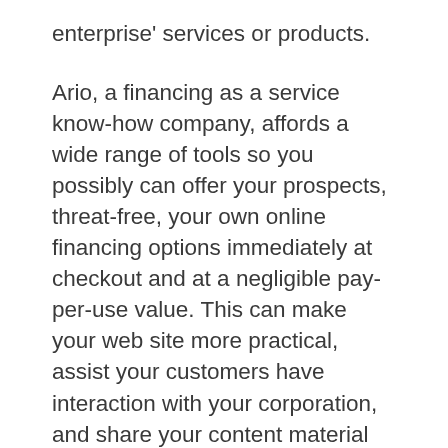enterprise' services or products.
Ario, a financing as a service know-how company, affords a wide range of tools so you possibly can offer your prospects, threat-free, your own online financing options immediately at checkout and at a negligible pay-per-use value. This can make your web site more practical, assist your customers have interaction with your corporation, and share your content material on social media.
In addition they work carefully with brands to know their targets, then design websites round these targets to ensure customers will have interaction with and purchase their services and products. First, they assess how your enterprise performs on-line (social media, native listings, and more) after which provide you with enchancment recommendations, including the creation of a website in case you don't already have one.